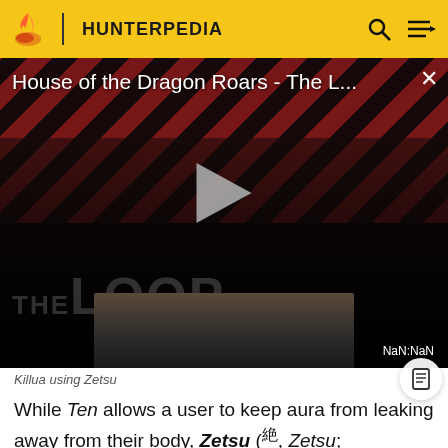HUNTERPEDIA
[Figure (screenshot): Video player showing 'House of the Dragon Roars - The L...' with a play button, dark background with diagonal red and black stripes, two silhouetted figures, THE LOOP watermark, and NaN:NaN timestamp. A thumbnail strip is visible at the bottom.]
Killua using Zetsu
While Ten allows a user to keep aura from leaking away from their body, Zetsu (絶, Zetsu; "Suppress"/"Null") stops